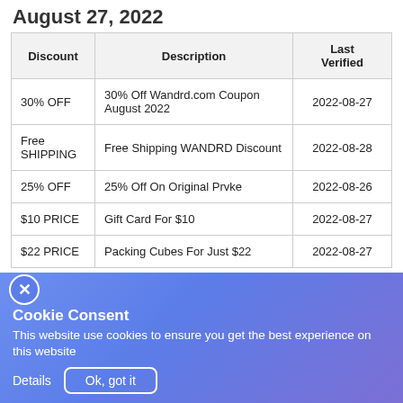August 27, 2022
| Discount | Description | Last Verified |
| --- | --- | --- |
| 30% OFF | 30% Off Wandrd.com Coupon August 2022 | 2022-08-27 |
| Free SHIPPING | Free Shipping WANDRD Discount | 2022-08-28 |
| 25% OFF | 25% Off On Original Prvke | 2022-08-26 |
| $10 PRICE | Gift Card For $10 | 2022-08-27 |
| $22 PRICE | Packing Cubes For Just $22 | 2022-08-27 |
Cookie Consent
This website use cookies to ensure you get the best experience on this website
Details  Ok, got it